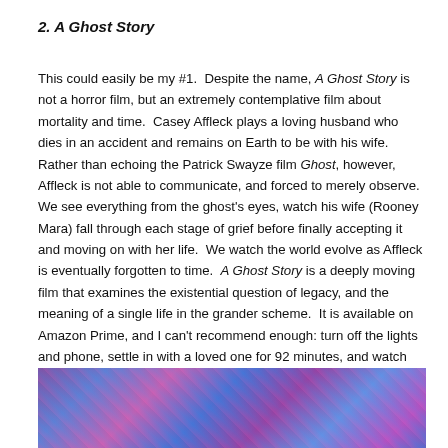2. A Ghost Story
This could easily be my #1.  Despite the name, A Ghost Story is not a horror film, but an extremely contemplative film about mortality and time.  Casey Affleck plays a loving husband who dies in an accident and remains on Earth to be with his wife.  Rather than echoing the Patrick Swayze film Ghost, however, Affleck is not able to communicate, and forced to merely observe.  We see everything from the ghost's eyes, watch his wife (Rooney Mara) fall through each stage of grief before finally accepting it and moving on with her life.  We watch the world evolve as Affleck is eventually forgotten to time.  A Ghost Story is a deeply moving film that examines the existential question of legacy, and the meaning of a single life in the grander scheme.  It is available on Amazon Prime, and I can't recommend enough: turn off the lights and phone, settle in with a loved one for 92 minutes, and watch what I found the most meaningful film of 2017.
[Figure (photo): A colorful purple and blue abstract or cosmic scene image at the bottom of the page, partially cropped.]